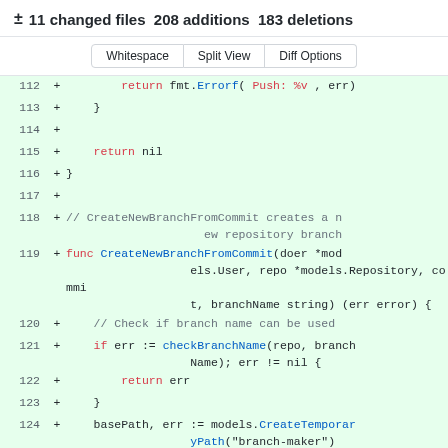± 11 changed files 208 additions 183 deletions
Whitespace  Split View  Diff Options
112 + return fmt.Errorf( Push: %v , err)
113 + }
114 +
115 + return nil
116 + }
117 +
118 + // CreateNewBranchFromCommit creates a new repository branch
119 + func CreateNewBranchFromCommit(doer *models.User, repo *models.Repository, commit, branchName string) (err error) {
120 + // Check if branch name can be used
121 + if err := checkBranchName(repo, branchName); err != nil {
122 + return err
123 + }
124 + basePath, err := models.CreateTemporaryPath("branch-maker")
125 + if err != nil {